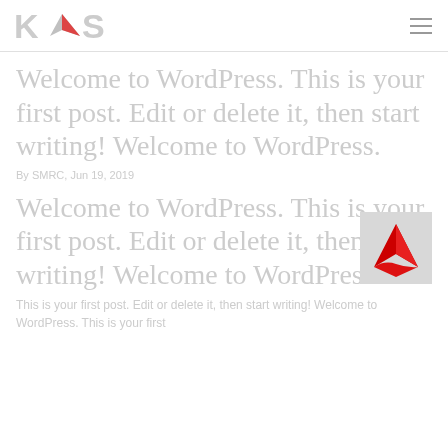KAS
Welcome to WordPress. This is your first post. Edit or delete it, then start writing! Welcome to WordPress.
By SMRC, Jun 19, 2019
[Figure (logo): Red arrow/triangle logo on light grey background]
Welcome to WordPress. This is your first post. Edit or delete it, then start writing! Welcome to WordPress.
This is your first post. Edit or delete it, then start writing! Welcome to WordPress. This is your first